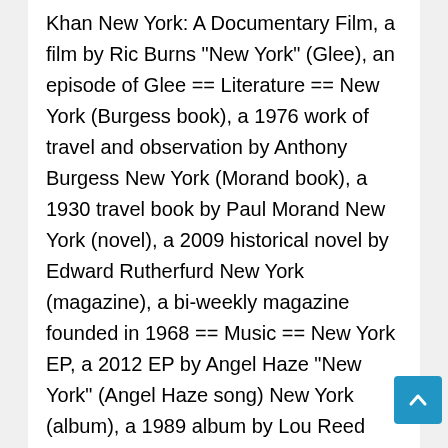Khan New York: A Documentary Film, a film by Ric Burns "New York" (Glee), an episode of Glee == Literature == New York (Burgess book), a 1976 work of travel and observation by Anthony Burgess New York (Morand book), a 1930 travel book by Paul Morand New York (novel), a 2009 historical novel by Edward Rutherfurd New York (magazine), a bi-weekly magazine founded in 1968 == Music == New York EP, a 2012 EP by Angel Haze "New York" (Angel Haze song) New York (album), a 1989 album by Lou Reed "New York" (Eskimo Joe song) (2007) "New York" (Ja Rule song) (2004) "New York" (Paloma Faith song) (2009) "New York" (St. Vincent song) (2017) "New York" (Snow Patrol song) (2011) "New York" (U2 song) (2000) New York, a 2006 album by Leni Toto "New York" 1977 and the